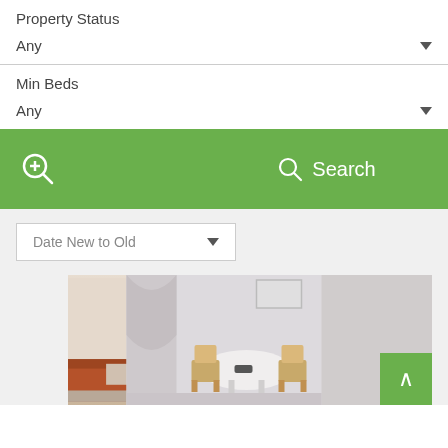Property Status
Any
Min Beds
Any
[Figure (screenshot): Green action bar with two icons: a magnifier-plus icon on the left and a search magnifier icon with 'Search' label on the right]
Date New to Old
[Figure (photo): Two property interior photos side by side: left shows a living room with sofa and fireplace, right shows a dining area with chairs and table. A green back-to-top button is in the bottom right corner.]